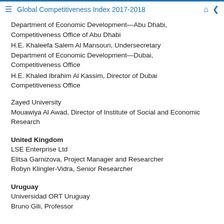Global Competitiveness Index 2017-2018
Department of Economic Development—Abu Dhabi, Competitiveness Office of Abu Dhabi
H.E. Khaleefa Salem Al Mansouri, Undersecretary
Department of Economic Development—Dubai, Competitiveness Office
H.E. Khaled Ibrahim Al Kassim, Director of Dubai Competitiveness Office
Zayed University
Mouawiya Al Awad, Director of Institute of Social and Economic Research
United Kingdom
LSE Enterprise Ltd
Elitsa Garnizova, Project Manager and Researcher
Robyn Klingler-Vidra, Senior Researcher
Uruguay
Universidad ORT Uruguay
Bruno Gili, Professor